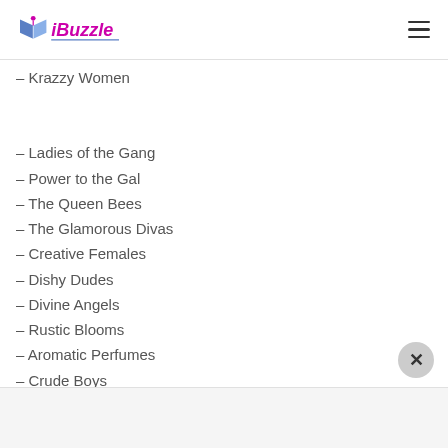iBuzzle
– Krazzy Women
– Ladies of the Gang
– Power to the Gal
– The Queen Bees
– The Glamorous Divas
– Creative Females
– Dishy Dudes
– Divine Angels
– Rustic Blooms
– Aromatic Perfumes
– Crude Boys